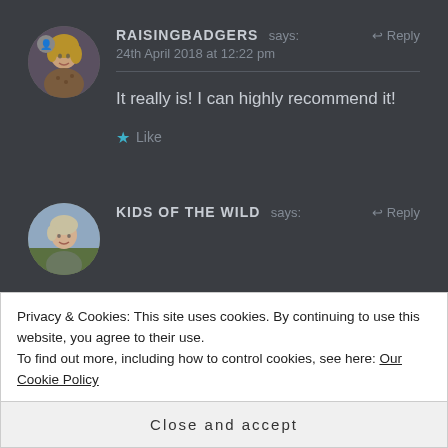[Figure (photo): Circular avatar of a woman with blonde hair, wearing a leopard print top, smiling.]
RAISINGBADGERS says: ↩ Reply
24th April 2018 at 12:22 pm
It really is! I can highly recommend it!
★ Like
[Figure (photo): Circular avatar of a woman with short grey/blonde hair outdoors.]
KIDS OF THE WILD says: ↩ Reply
Privacy & Cookies: This site uses cookies. By continuing to use this website, you agree to their use.
To find out more, including how to control cookies, see here: Our Cookie Policy
Close and accept